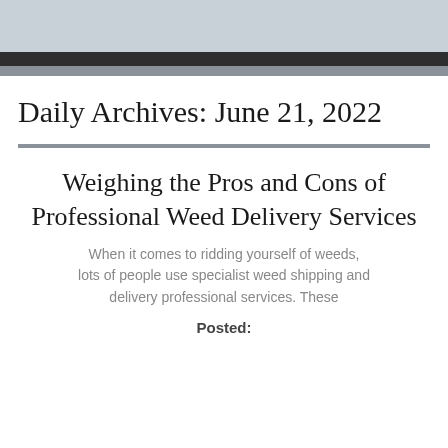Daily Archives: June 21, 2022
Weighing the Pros and Cons of Professional Weed Delivery Services
When it comes to ridding yourself of weeds, lots of people use specialist weed shipping and delivery professional services. These
Posted: